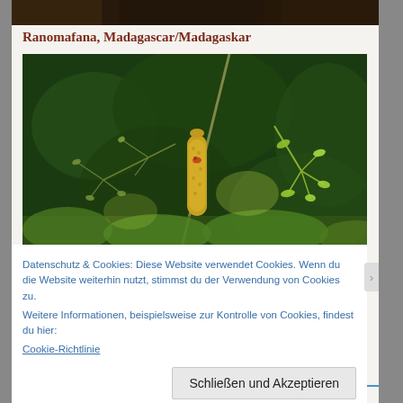[Figure (photo): Partial top strip showing a dark nature/forest photo cropped at the top of the page.]
Ranomafana, Madagascar/Madagaskar
[Figure (photo): A close-up nature photograph showing a yellow-green flower spike (possibly a plant catkin or spike inflorescence) with green foliage and dark green bokeh background, taken at Ranomafana, Madagascar.]
Datenschutz & Cookies: Diese Website verwendet Cookies. Wenn du die Website weiterhin nutzt, stimmst du der Verwendung von Cookies zu.
Weitere Informationen, beispielsweise zur Kontrolle von Cookies, findest du hier:
Cookie-Richtlinie
Schließen und Akzeptieren